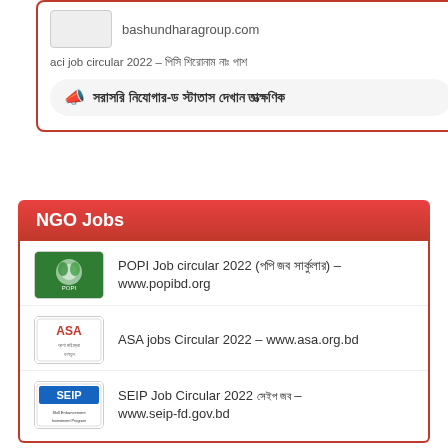bashundharagroup.com
aci job circular 2022 – [Bengali text]
[Bengali announcement text]
NGO Jobs
POPI Job circular 2022 (পপি জব সার্কুলার) – www.popibd.org
ASA jobs Circular 2022 – www.asa.org.bd
SEIP Job Circular 2022 [Bengali text] – www.seip-fd.gov.bd